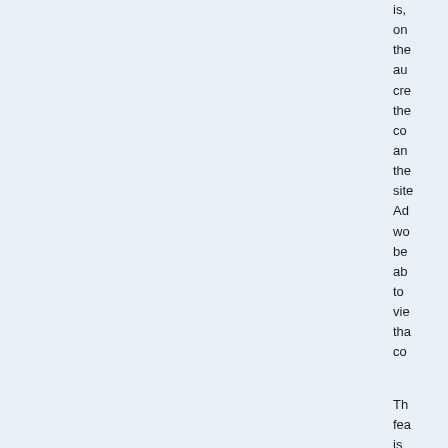is, on the au cre the co an the site Ad wo be ab to vie tha co
Th fea is av to me at